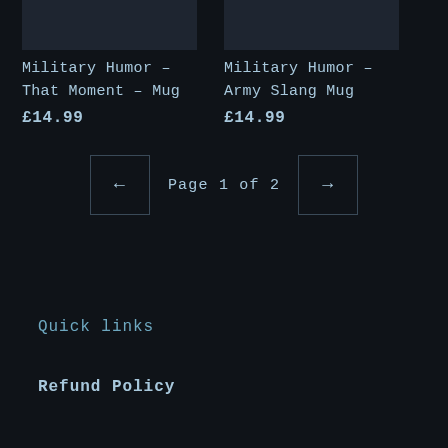Military Humor – That Moment – Mug
£14.99
Military Humor – Army Slang Mug
£14.99
← Page 1 of 2 →
Quick links
Refund Policy